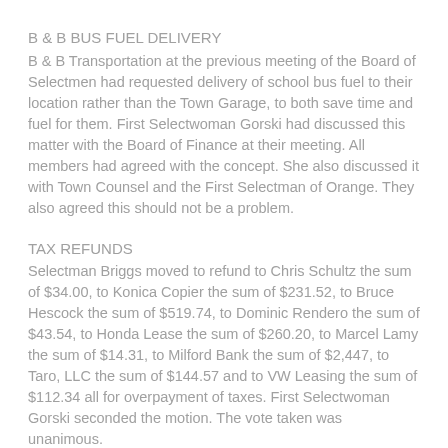B & B BUS FUEL DELIVERY
B & B Transportation at the previous meeting of the Board of Selectmen had requested delivery of school bus fuel to their location rather than the Town Garage, to both save time and fuel for them. First Selectwoman Gorski had discussed this matter with the Board of Finance at their meeting. All members had agreed with the concept. She also discussed it with Town Counsel and the First Selectman of Orange. They also agreed this should not be a problem.
TAX REFUNDS
Selectman Briggs moved to refund to Chris Schultz the sum of $34.00, to Konica Copier the sum of $231.52, to Bruce Hescock the sum of $519.74, to Dominic Rendero the sum of $43.54, to Honda Lease the sum of $260.20, to Marcel Lamy the sum of $14.31, to Milford Bank the sum of $2,447, to Taro, LLC the sum of $144.57 and to VW Leasing the sum of $112.34 all for overpayment of taxes. First Selectwoman Gorski seconded the motion. The vote taken was unanimous.